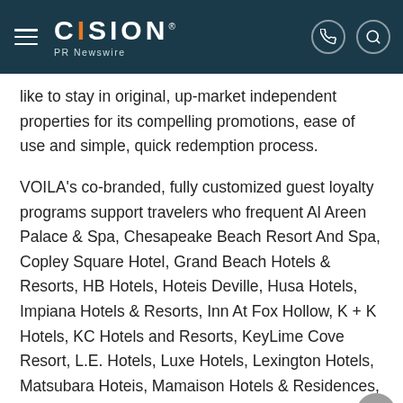CISION PR Newswire
like to stay in original, up-market independent properties for its compelling promotions, ease of use and simple, quick redemption process.
VOILA's co-branded, fully customized guest loyalty programs support travelers who frequent Al Areen Palace & Spa, Chesapeake Beach Resort And Spa, Copley Square Hotel, Grand Beach Hotels & Resorts, HB Hotels, Hoteis Deville, Husa Hotels, Impiana Hotels & Resorts, Inn At Fox Hollow, K + K Hotels, KC Hotels and Resorts, KeyLime Cove Resort, L.E. Hotels, Luxe Hotels, Lexington Hotels, Matsubara Hoteis, Mamaison Hotels & Residences, Othon Hotels, Ria... Hotels, Ritz-la... Anto... St Giles Hotels New York...